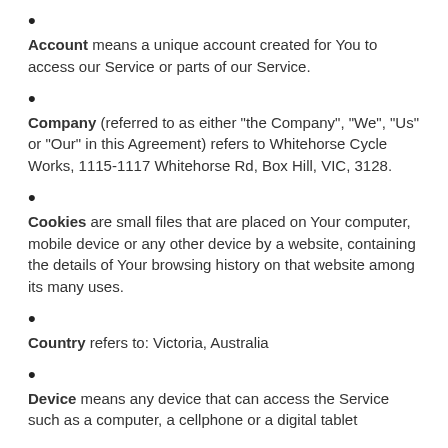Account means a unique account created for You to access our Service or parts of our Service.
Company (referred to as either "the Company", "We", "Us" or "Our" in this Agreement) refers to Whitehorse Cycle Works, 1115-1117 Whitehorse Rd, Box Hill, VIC, 3128.
Cookies are small files that are placed on Your computer, mobile device or any other device by a website, containing the details of Your browsing history on that website among its many uses.
Country refers to: Victoria, Australia
Device means any device that can access the Service such as a computer, a cellphone or a digital tablet